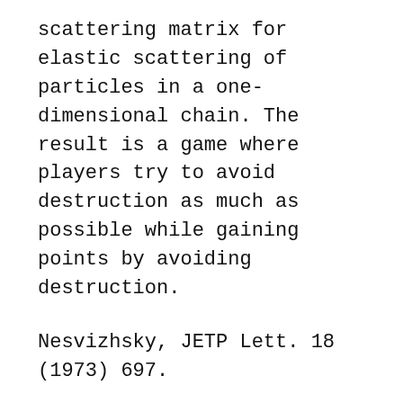scattering matrix for elastic scattering of particles in a one-dimensional chain. The result is a game where players try to avoid destruction as much as possible while gaining points by avoiding destruction.
Nesvizhsky, JETP Lett. 18 (1973) 697.
Hedin, Phys. 140 (1964) A1133.
Landau and E. Lifshitz, Quantum Mechanics, 3rd Ed. (Pergamon, Oxford, 1980).
Landau and E. Lifshitz, Quantum